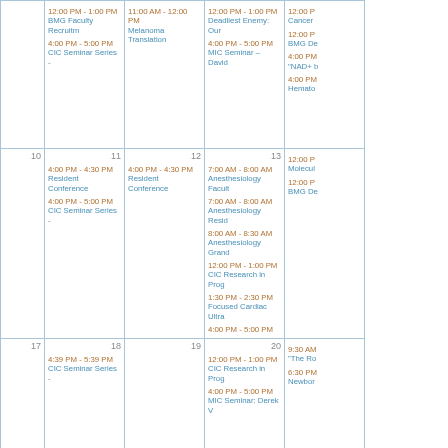|  | 12:00 PM - 1:00 PM
BMG Faculty Recruitm | 11:00 AM - 12:00 PM
Melanoma Translation | 12:00 PM - 1:00 PM
Deadliest Enemy: Our | 12:00 P
Cancer
12:00 P
BMG De
4:00 PM
"NAD+ b
4:00 PM
Hemato |
| 10 | 11
4:00 PM - 4:30 PM
Resident Conference
4:00 PM - 5:00 PM
CIC Seminar Series - | 12
4:00 PM - 4:30 PM
Resident Conference | 13
7:00 AM - 8:00 AM
Anesthesiology Facult
7:00 AM - 8:00 AM
Anesthesiology Resid
8:00 AM - 8:30 AM
Anesthesiology Grand
12:00 PM - 1:00 PM
CIC Research in Prog
1:30 PM - 2:30 PM
Focused Cardiac Ultra
4:00 PM - 5:00 PM | 12:00 P
Molecu
12:00 P
BMG De |
| 17 | 18
4:39 PM - 5:39 PM
CIC Seminar Series - | 19 | 20
12:00 PM - 1:00 PM
CIC Research in Prog
4:00 PM - 5:00 PM
MIC Seminar: Derek V | 9:30 AM
"The Ro
6:30 PM
Newbor |